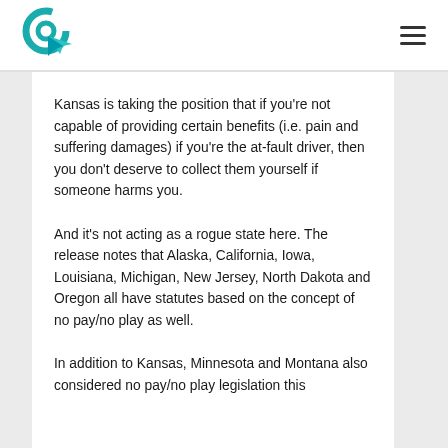[Logo] [Navigation menu]
Kansas is taking the position that if you're not capable of providing certain benefits (i.e. pain and suffering damages) if you're the at-fault driver, then you don't deserve to collect them yourself if someone harms you.
And it's not acting as a rogue state here. The release notes that Alaska, California, Iowa, Louisiana, Michigan, New Jersey, North Dakota and Oregon all have statutes based on the concept of no pay/no play as well.
In addition to Kansas, Minnesota and Montana also considered no pay/no play legislation this